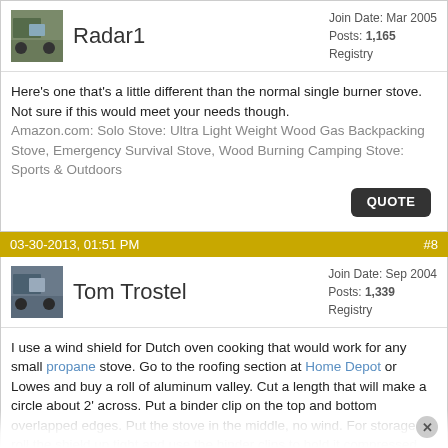Radar1 — Join Date: Mar 2005, Posts: 1,165, Registry
Here's one that's a little different than the normal single burner stove. Not sure if this would meet your needs though. Amazon.com: Solo Stove: Ultra Light Weight Wood Gas Backpacking Stove, Emergency Survival Stove, Wood Burning Camping Stove: Sports & Outdoors
QUOTE
03-30-2013, 01:51 PM  #8
Tom Trostel — Join Date: Sep 2004, Posts: 1,339, Registry
I use a wind shield for Dutch oven cooking that would work for any small propane stove. Go to the roofing section at Home Depot or Lowes and buy a roll of aluminum valley. Cut a length that will make a circle about 2' across. Put a binder clip on the top and bottom overlapped edges. Put the stove in the middle, no wind. For storage roll the shield up tight and use the binder clips to hold it compressed.